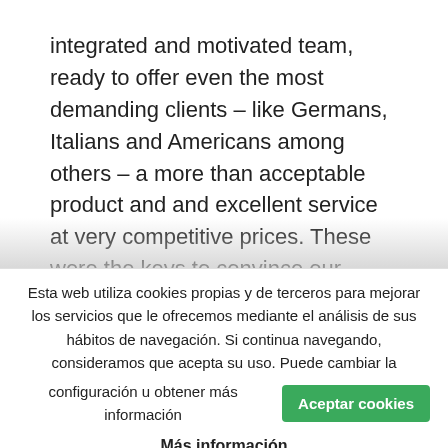integrated and motivated team, ready to offer even the most demanding clients – like Germans, Italians and Americans among others – a more than acceptable product and and excellent service at very competitive prices. These were the keys to convince our clients, which became not only very loyal buyers but developped after
Esta web utiliza cookies propias y de terceros para mejorar los servicios que le ofrecemos mediante el análisis de sus hábitos de navegación. Si continua navegando, consideramos que acepta su uso. Puede cambiar la configuración u obtener más información
Aceptar cookies
Más información